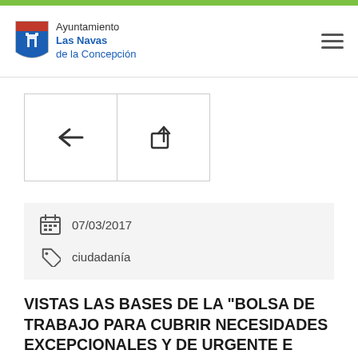Ayuntamiento Las Navas de la Concepción
[Figure (illustration): Two navigation buttons: back arrow and share icon]
07/03/2017
ciudadanía
VISTAS LAS BASES DE LA "BOLSA DE TRABAJO PARA CUBRIR NECESIDADES EXCEPCIONALES Y DE URGENTE E INAPLAZABLE NECESIDAD EN EL